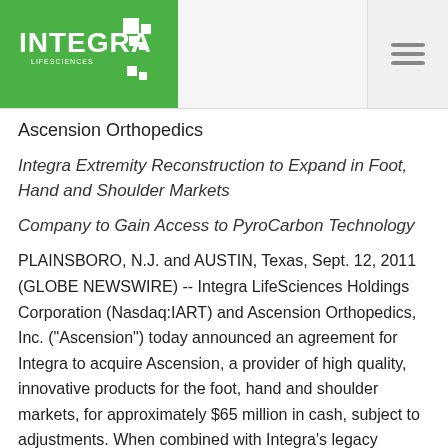[Figure (logo): Integra LifeSciences logo on green background with white text and geometric squares icon]
Ascension Orthopedics
Integra Extremity Reconstruction to Expand in Foot, Hand and Shoulder Markets
Company to Gain Access to PyroCarbon Technology
PLAINSBORO, N.J. and AUSTIN, Texas, Sept. 12, 2011 (GLOBE NEWSWIRE) -- Integra LifeSciences Holdings Corporation (Nasdaq:IART) and Ascension Orthopedics, Inc. ("Ascension") today announced an agreement for Integra to acquire Ascension, a provider of high quality, innovative products for the foot, hand and shoulder markets, for approximately $65 million in cash, subject to adjustments. When combined with Integra's legacy